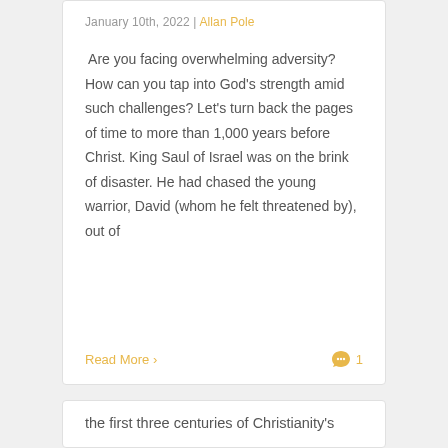January 10th, 2022 | Allan Pole
Are you facing overwhelming adversity? How can you tap into God's strength amid such challenges? Let's turn back the pages of time to more than 1,000 years before Christ. King Saul of Israel was on the brink of disaster. He had chased the young warrior, David (whom he felt threatened by), out of
Read More >
the first three centuries of Christianity's